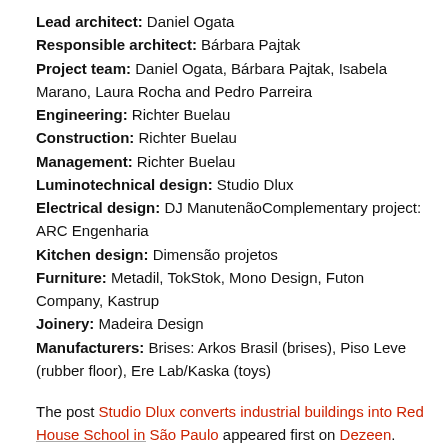Lead architect: Daniel Ogata
Responsible architect: Bárbara Pajtak
Project team: Daniel Ogata, Bárbara Pajtak, Isabela Marano, Laura Rocha and Pedro Parreira
Engineering: Richter Buelau
Construction: Richter Buelau
Management: Richter Buelau
Luminotechnical design: Studio Dlux
Electrical design: DJ Manutenção Complementary project: ARC Engenharia
Kitchen design: Dimensão projetos
Furniture: Metadil, TokStok, Mono Design, Futon Company, Kastrup
Joinery: Madeira Design
Manufacturers: Brises: Arkos Brasil (brises), Piso Leve (rubber floor), Ere Lab/Kaska (toys)
The post Studio Dlux converts industrial buildings into Red House School in São Paulo appeared first on Dezeen.